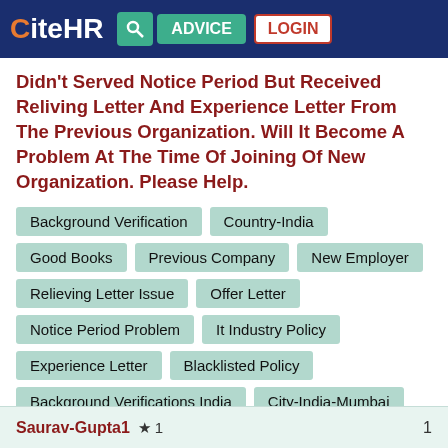CiteHR | ADVICE | LOGIN
Didn't Served Notice Period But Received Reliving Letter And Experience Letter From The Previous Organization. Will It Become A Problem At The Time Of Joining Of New Organization. Please Help.
Background Verification
Country-India
Good Books
Previous Company
New Employer
Relieving Letter Issue
Offer Letter
Notice Period Problem
It Industry Policy
Experience Letter
Blacklisted Policy
Background Verifications India
City-India-Mumbai
Saurav-Gupta1 ★ 1